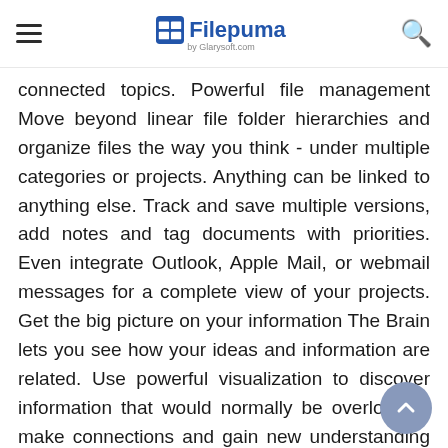Filepuma by Glarysoft.com
connected topics. Powerful file management Move beyond linear file folder hierarchies and organize files the way you think - under multiple categories or projects. Anything can be linked to anything else. Track and save multiple versions, add notes and tag documents with priorities. Even integrate Outlook, Apple Mail, or webmail messages for a complete view of your projects. Get the big picture on your information The Brain lets you see how your ideas and information are related. Use powerful visualization to discover information that would normally be overlooked, make connections and gain new understanding of your projects and content. Note: Limited functionality in demo version. Also Available: Download TheBrain for Mac Download TheBrain Latest Version